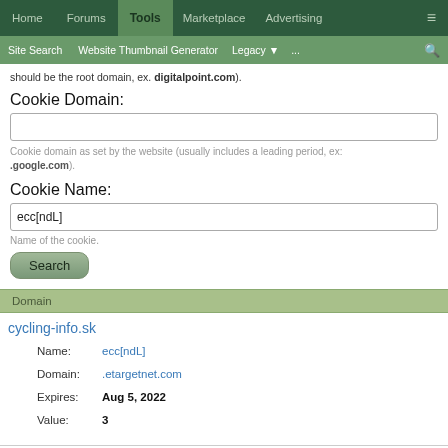Home | Forums | Tools | Marketplace | Advertising | ≡
Site Search | Website Thumbnail Generator | Legacy ▼ | ... | 🔍
should be the root domain, ex. digitalpoint.com).
Cookie Domain:
Cookie domain as set by the website (usually includes a leading period, ex: .google.com).
Cookie Name:
ecc[ndL]
Name of the cookie.
Search
Domain
cycling-info.sk
| Label | Value |
| --- | --- |
| Name: | ecc[ndL] |
| Domain: | .etargetnet.com |
| Expires: | Aug 5, 2022 |
| Value: | 3 |